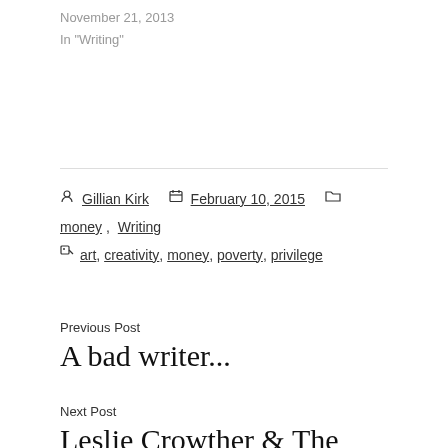November 21, 2013
In "Writing"
Gillian Kirk  February 10, 2015  money, Writing
art, creativity, money, poverty, privilege
Previous Post
A bad writer...
Next Post
Leslie Crowther & The Red Pen of